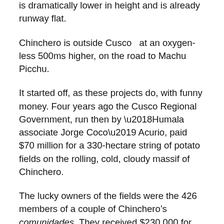is dramatically lower in height and is already runway flat.
Chinchero is outside Cusco  at an oxygen-less 500ms higher, on the road to Machu Picchu.
It started off, as these projects do, with funny money. Four years ago the Cusco Regional Government, run then by ‘Humala associate Jorge Coco’ Acurio, paid $70 million for a 330-hectare string of potato fields on the rolling, cold, cloudy massif of Chinchero.
The lucky owners of the fields were the 426 members of a couple of Chinchero’s comunidades. They received $230,000 for each hectare, making them by far the most expensive potato fields in the world. You can buy a hectare of potato field in Idaho, the world’s biggest potato region, for $5,000 per hectare. In expensive southern England, in Devon and Somerset for instance, the same